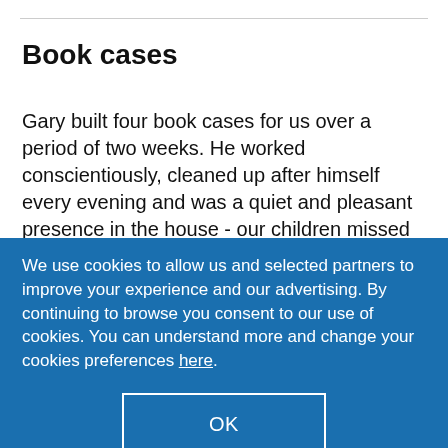Book cases
Gary built four book cases for us over a period of two weeks. He worked conscientiously, cleaned up after himself every evening and was a quiet and pleasant presence in the house - our children missed him when the work was finished! The finished work is excellent, with
We use cookies to allow us and selected partners to improve your experience and our advertising. By continuing to browse you consent to our use of cookies. You can understand more and change your cookies preferences here.